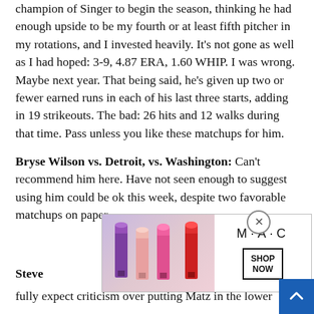champion of Singer to begin the season, thinking he had enough upside to be my fourth or at least fifth pitcher in my rotations, and I invested heavily. It's not gone as well as I had hoped: 3-9, 4.87 ERA, 1.60 WHIP. I was wrong. Maybe next year. That being said, he's given up two or fewer earned runs in each of his last three starts, adding in 19 strikeouts. The bad: 26 hits and 12 walks during that time. Pass unless you like these matchups for him.
Bryse Wilson vs. Detroit, vs. Washington: Can't recommend him here. Have not seen enough to suggest using him could be ok this week, despite two favorable matchups on paper.
Steve[...] re[...] fully expect criticism over putting Matz in the lower
[Figure (advertisement): MAC Cosmetics advertisement showing lipsticks in purple, pink, and red with MAC logo and SHOP NOW button]